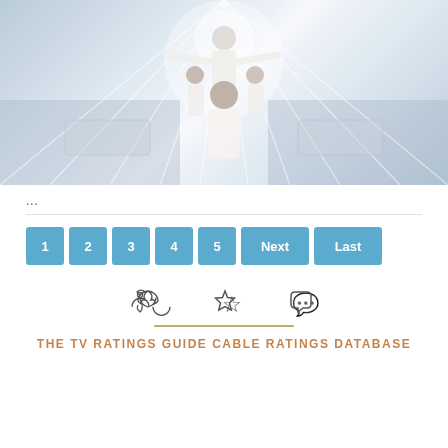[Figure (photo): Promotional image showing four characters in white suits against a bright stadium background with radiating light rays and a crowd]
...
1
2
3
4
5
Next
Last
THE TV RATINGS GUIDE CABLE RATINGS DATABASE